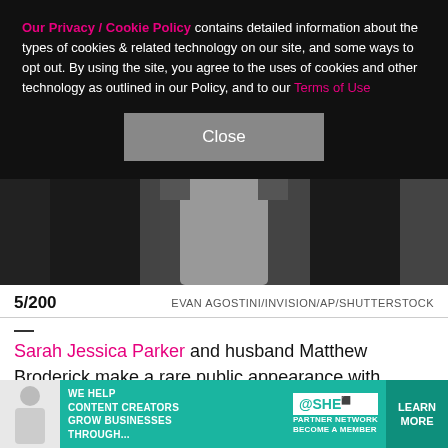[Figure (photo): Photo of people at a premiere event, partially obscured by cookie consent overlay]
Our Privacy / Cookie Policy contains detailed information about the types of cookies & related technology on our site, and some ways to opt out. By using the site, you agree to the uses of cookies and other technology as outlined in our Policy, and to our Terms of Use
Close
5/200   EVAN AGOSTINI/INVISION/AP/SHUTTERSTOCK
—
Sarah Jessica Parker and husband Matthew Broderick make a rare public appearance with their son, James Wilkie Broderick, at the premiere of HBO Max's "And Just Like That..." at the Museum of Modern Art in New York City on Dec. 8, 2021.
[Figure (infographic): Advertisement banner: SHE Media Partner Network - We help content creators grow businesses through... Learn More]